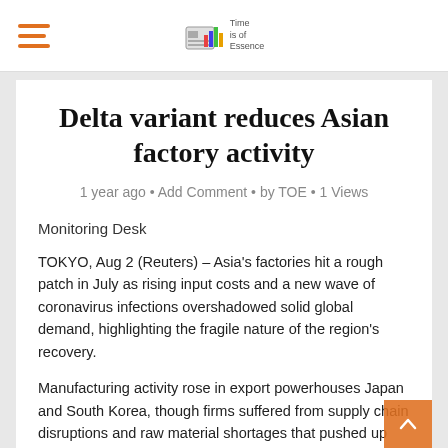Time is of Essence — navigation bar with hamburger menu and logo
Delta variant reduces Asian factory activity
1 year ago · Add Comment · by TOE · 1 Views
Monitoring Desk
TOKYO, Aug 2 (Reuters) – Asia's factories hit a rough patch in July as rising input costs and a new wave of coronavirus infections overshadowed solid global demand, highlighting the fragile nature of the region's recovery.
Manufacturing activity rose in export powerhouses Japan and South Korea, though firms suffered from supply chain disruptions and raw material shortages that pushed up costs.